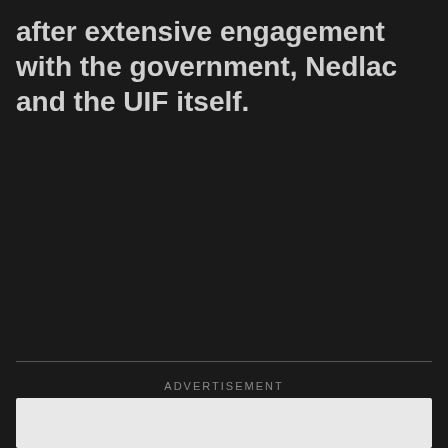after extensive engagement with the government, Nedlac and the UIF itself.
ADVERTISEMENT